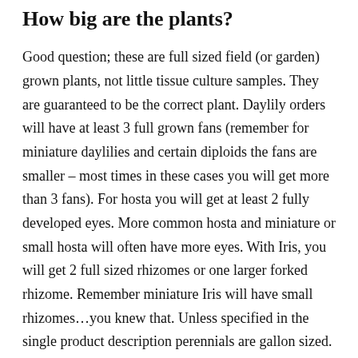How big are the plants?
Good question; these are full sized field (or garden) grown plants, not little tissue culture samples. They are guaranteed to be the correct plant. Daylily orders will have at least 3 full grown fans (remember for miniature daylilies and certain diploids the fans are smaller – most times in these cases you will get more than 3 fans). For hosta you will get at least 2 fully developed eyes. More common hosta and miniature or small hosta will often have more eyes. With Iris, you will get 2 full sized rhizomes or one larger forked rhizome. Remember miniature Iris will have small rhizomes…you knew that. Unless specified in the single product description perennials are gallon sized.  For some perennials we offer multiple first year plants, this is done in the case of